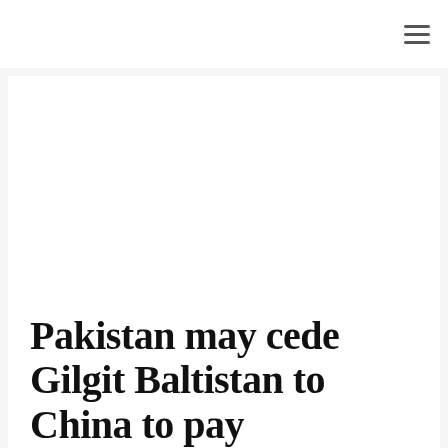≡
[Figure (other): Advertisement / blank white space placeholder inside article card]
Pakistan may cede Gilgit Baltistan to China to pay